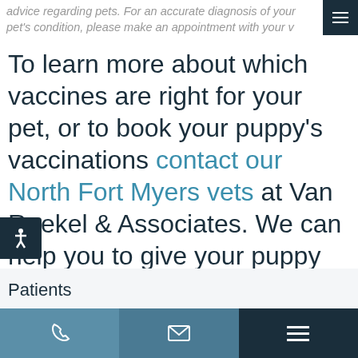advice regarding pets. For an accurate diagnosis of your pet's condition, please make an appointment with your v...
To learn more about which vaccines are right for your pet, or to book your puppy's vaccinations contact our North Fort Myers vets at Van Roekel & Associates. We can help you to give your puppy the very best start in life.
Patients
Phone | Email | Menu